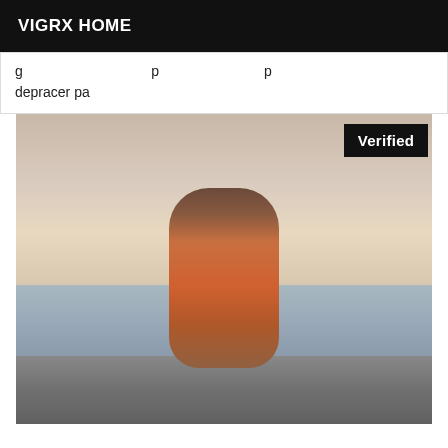VIGRX HOME
g depracer pa
[Figure (photo): A woman in a colorful floral dress sitting on rocks by the water at dusk, with a 'Verified' badge overlay in the top right corner.]